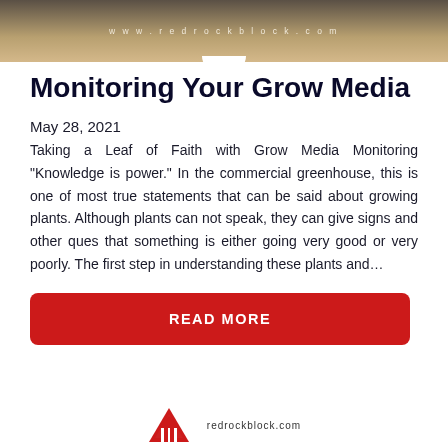www.redrockblock.com
Monitoring Your Grow Media
May 28, 2021
Taking a Leaf of Faith with Grow Media Monitoring “Knowledge is power.” In the commercial greenhouse, this is one of most true statements that can be said about growing plants. Although plants can not speak, they can give signs and other ques that something is either going very good or very poorly. The first step in understanding these plants and…
READ MORE
redrockblock.com